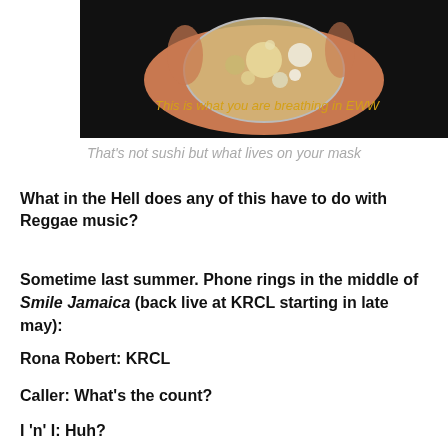[Figure (photo): A hand holding a petri dish with microbial growth/organisms inside, against a dark background. Yellow text overlay reads: 'This is what you are breathing in EWW']
That's not sushi but what lives on your mask
What in the Hell does any of this have to do with Reggae music?
Sometime last summer. Phone rings in the middle of Smile Jamaica (back live at KRCL starting in late may):
Rona Robert: KRCL
Caller: What's the count?
I 'n' I: Huh?